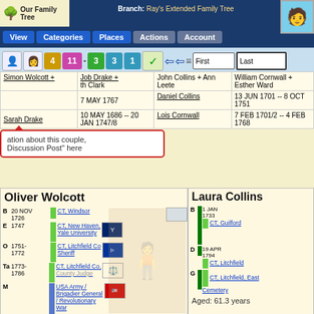Our Family Tree — Branch: Ray's Extended Family Tree
[Figure (screenshot): Navigation bar with View, Categories, Places, Actions, Account buttons]
[Figure (screenshot): Toolbar with person icons, numbered badges 4, 11, -3, 3, 1, checkmark, arrow icons, and First/Last search fields]
| Simon Wolcott + | Job Drake + | John Collins + Ann Leete | William Cornwall + Esther Ward |
| --- | --- | --- | --- |
|  | th Clark |  |  |
|  | 7 MAY 1767 | Daniel Collins | 13 JUN 1701 -- 8 OCT 1751 |
| Sarah Drake | 10 MAY 1686 -- 20 JAN 1747/8 | Lois Cornwall | 7 FEB 1701/2 -- 4 FEB 1768 |
ation about this couple, Discussion Post" here
Oliver Wolcott
B 20 NOV 1726 — CT, Windsor
E 1747 — CT, New Haven, Yale University
O 1751-1772 — CT, Litchfield Co Sheriff
Ta 1773-1786 — CT, Litchfield Co, County Judge
M — USA Army / Brigadier General / Revolutionary War
O 1776-1785 — Council Of Assistants, CT
Laura Collins
B 1 JAN 1733 — CT, Guilford
D 19 APR 1794 — CT, Litchfield
G — CT, Litchfield, East Cemetery
Aged: 61.3 years